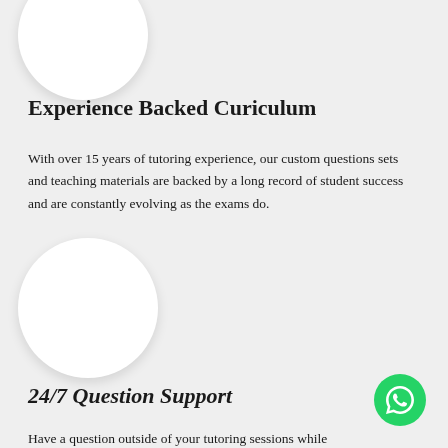[Figure (illustration): White circle partially cropped at top-left of page]
Experience Backed Curiculum
With over 15 years of tutoring experience, our custom questions sets and teaching materials are backed by a long record of student success and are constantly evolving as the exams do.
[Figure (illustration): White circle in middle-left area of page]
24/7 Question Support
Have a question outside of your tutoring sessions while
[Figure (illustration): Green WhatsApp button icon in bottom-right corner]